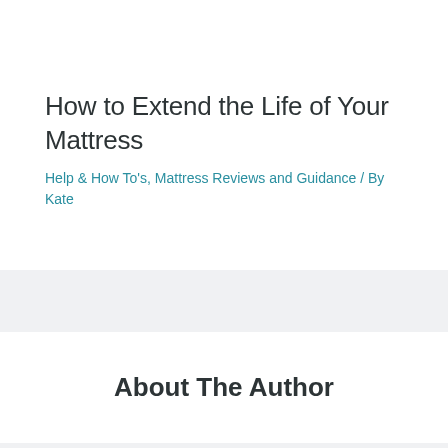How to Extend the Life of Your Mattress
Help & How To's, Mattress Reviews and Guidance / By Kate
About The Author